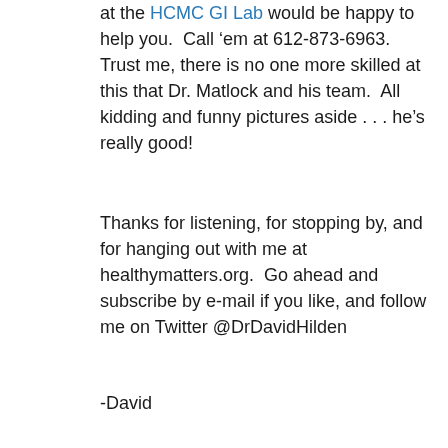at the HCMC GI Lab would be happy to help you.  Call 'em at 612-873-6963.  Trust me, there is no one more skilled at this that Dr. Matlock and his team.  All kidding and funny pictures aside . . . he's really good!
Thanks for listening, for stopping by, and for hanging out with me at healthymatters.org.  Go ahead and subscribe by e-mail if you like, and follow me on Twitter @DrDavidHilden
-David